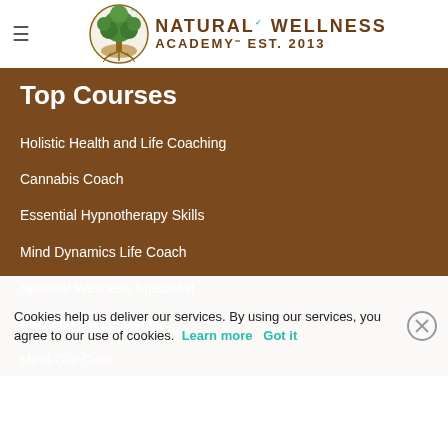[Figure (logo): Natural Wellness Academy logo with tree illustration and text 'NATURAL WELLNESS ACADEMY Est. 2013']
Top Courses
Holistic Health and Life Coaching
Cannabis Coach
Essential Hypnotherapy Skills
Mind Dynamics Life Coach
Spiritual Wellness Specialist
Past Life Regressionist
Mind-Gut Guru
Sacred Journey Facilitator
Spectrum Solutions Sp…
Cookies help us deliver our services. By using our services, you agree to our use of cookies. Learn more  Got it